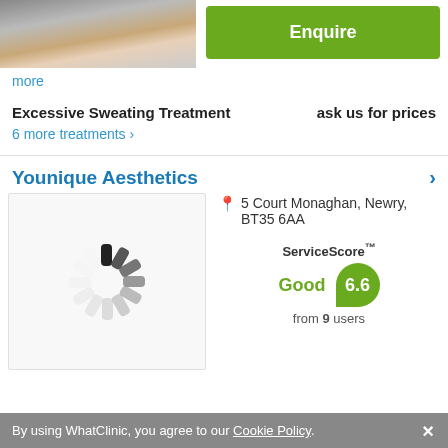[Figure (photo): Partial photo of a person (head/shoulders) in the top-left corner]
Enquire
more
Excessive Sweating Treatment    ask us for prices
6 more treatments >
Younique Aesthetics
[Figure (other): Loading spinner / circular loading animation]
5 Court Monaghan, Newry, BT35 6AA
ServiceScore™  Good  6.6  from 9 users
By using WhatClinic, you agree to our Cookie Policy.  ×